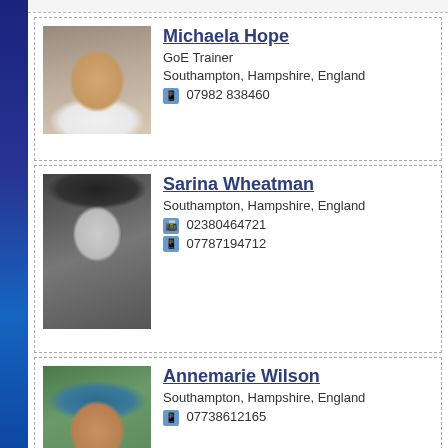[Figure (photo): Profile photo of Michaela Hope, a woman with long blonde hair wearing a white top]
Michaela Hope
GoE Trainer
Southampton, Hampshire, England
07982 838460
[Figure (photo): Black and white profile photo of Sarina Wheatman wearing a wide-brimmed hat]
Sarina Wheatman
Southampton, Hampshire, England
02380464721
07787194712
[Figure (photo): Profile photo of Annemarie Wilson, a woman with teal/blue hair and glasses]
Annemarie Wilson
Southampton, Hampshire, England
07738612165